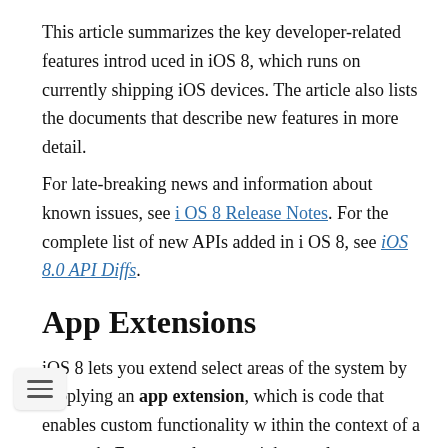This article summarizes the key developer-related features introduced in iOS 8, which runs on currently shipping iOS devices. The article also lists the documents that describe new features in more detail.
For late-breaking news and information about known issues, see iOS 8 Release Notes. For the complete list of new APIs added in iOS 8, see iOS 8.0 API Diffs.
App Extensions
iOS 8 lets you extend select areas of the system by supplying an app extension, which is code that enables custom functionality within the context of a user task. For example, you might supply an app extension that helps users post content to your social sharing website. After users install and enable this extension, they can choose it when they tap the Share button in their current app. Your custom sharing extension provides the code that accepts, validates,